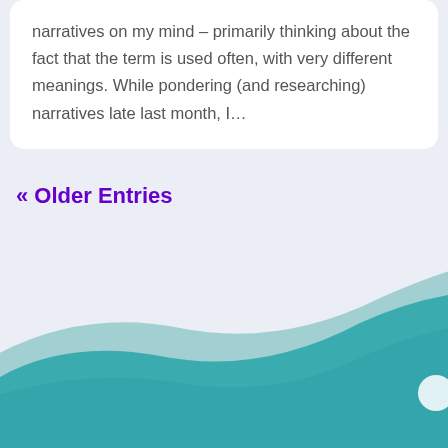narratives on my mind – primarily thinking about the fact that the term is used often, with very different meanings. While pondering (and researching) narratives late last month, I...
« Older Entries
[Figure (illustration): Decorative teal and light teal wave shapes at the bottom of the page with a white circle element on the right side]